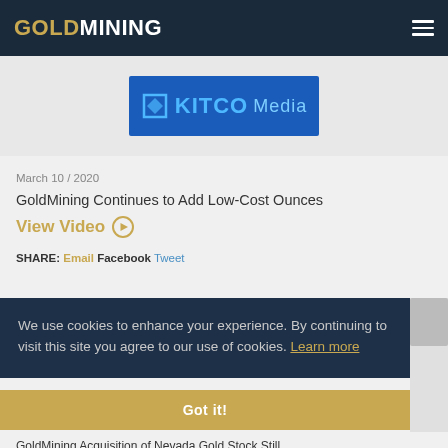GOLDMINING
[Figure (logo): Kitco Media logo on blue background]
March 10 / 2020
GoldMining Continues to Add Low-Cost Ounces
View Video →
SHARE: Email Facebook Tweet
We use cookies to enhance your experience. By continuing to visit this site you agree to our use of cookies. Learn more
Got it!
GoldMining Acquisition of Nevada Gold Stock Still...